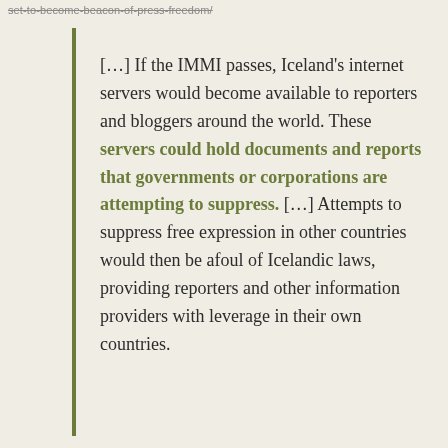set-to-become-beacon-of-press-freedom/
[…] If the IMMI passes, Iceland's internet servers would become available to reporters and bloggers around the world. These servers could hold documents and reports that governments or corporations are attempting to suppress. […] Attempts to suppress free expression in other countries would then be afoul of Icelandic laws, providing reporters and other information providers with leverage in their own countries.